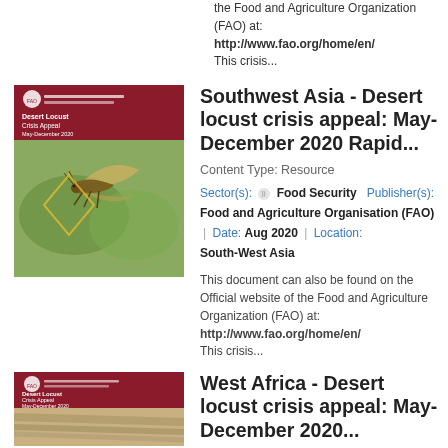the Food and Agriculture Organization (FAO) at:
http://www.fao.org/home/en/
This crisis...
[Figure (illustration): Thumbnail image: FAO Desert Locust Crisis Appeal May-December 2020 document cover with red header and photo of locust on plant]
Southwest Asia - Desert locust crisis appeal: May-December 2020 Rapid...
Content Type: Resource
Sector(s): Food Security  Publisher(s): Food and Agriculture Organisation (FAO)  |  Date: Aug 2020  |  Location: South-West Asia
This document can also be found on the Official website of the Food and Agriculture Organization (FAO) at:
http://www.fao.org/home/en/
This crisis...
[Figure (illustration): Thumbnail image: FAO Desert Locust Crisis Appeal May-December 2020 document cover for West Africa]
West Africa - Desert locust crisis appeal: May-December 2020...